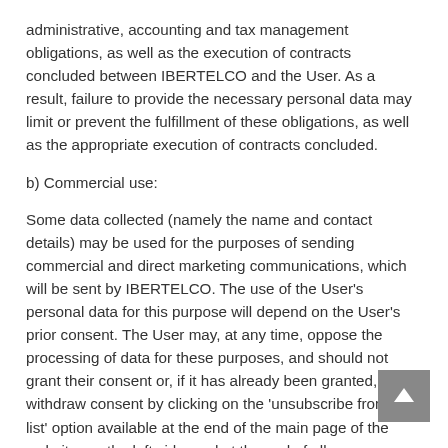administrative, accounting and tax management obligations, as well as the execution of contracts concluded between IBERTELCO and the User. As a result, failure to provide the necessary personal data may limit or prevent the fulfillment of these obligations, as well as the appropriate execution of contracts concluded.
b) Commercial use:
Some data collected (namely the name and contact details) may be used for the purposes of sending commercial and direct marketing communications, which will be sent by IBERTELCO. The use of the User's personal data for this purpose will depend on the User's prior consent. The User may, at any time, oppose the processing of data for these purposes, and should not grant their consent or, if it has already been granted, withdraw consent by clicking on the 'unsubscribe from this list' option available at the end of the main page of the website, on the left side, and at the end of all communications sent by IBERTELCO.